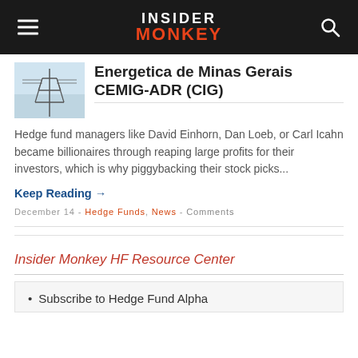INSIDER MONKEY
[Figure (photo): Electrical power transmission tower against sky]
Energetica de Minas Gerais CEMIG-ADR (CIG)
Hedge fund managers like David Einhorn, Dan Loeb, or Carl Icahn became billionaires through reaping large profits for their investors, which is why piggybacking their stock picks...
Keep Reading →
December 14 - Hedge Funds, News - Comments
Insider Monkey HF Resource Center
Subscribe to Hedge Fund Alpha